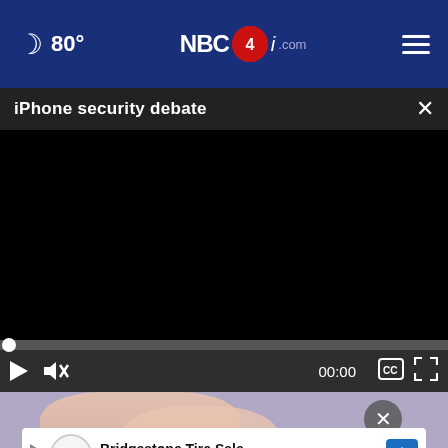80° NBC4i.com
iPhone security debate
[Figure (screenshot): Black video player area showing a paused/unloaded video with progress bar at start (00:00) and playback controls including play button, mute button, time display 00:00, closed caption button, and fullscreen button]
[Figure (photo): Partial view of a person's hands/body against a light purple background, partially obscured by an advertisement overlay]
Bridgestone Tire Sale
VirginiaTire & Auto of Ashburn Fa.